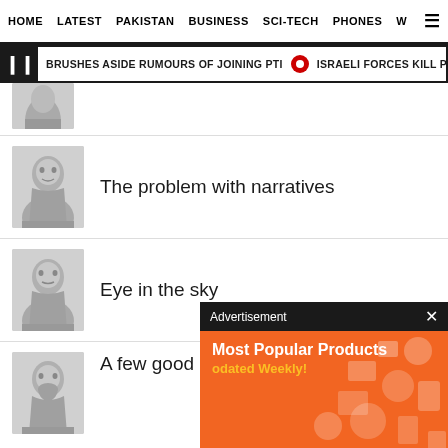HOME | LATEST | PAKISTAN | BUSINESS | SCI-TECH | PHONES | W
BRUSHES ASIDE RUMOURS OF JOINING PTI | ISRAELI FORCES KILL PALESTINIAN M
The problem with narratives
Eye in the sky
A few good men
[Figure (screenshot): Advertisement overlay showing 'Most Popular Products Updated Weekly!' on orange background with product icons]
[Figure (photo): Partial headshot of person at top, partially cropped]
[Figure (photo): Headshot of middle-aged man for article 'The problem with narratives']
[Figure (photo): Headshot of man for article 'Eye in the sky']
[Figure (photo): Headshot of bearded man for article 'A few good men']